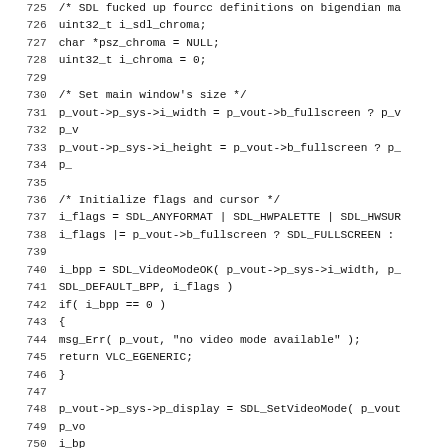[Figure (screenshot): Source code listing showing lines 725-756 of a C file related to SDL video mode initialization. Lines include variable declarations, SDL function calls, and conditional error handling for VLC media player.]